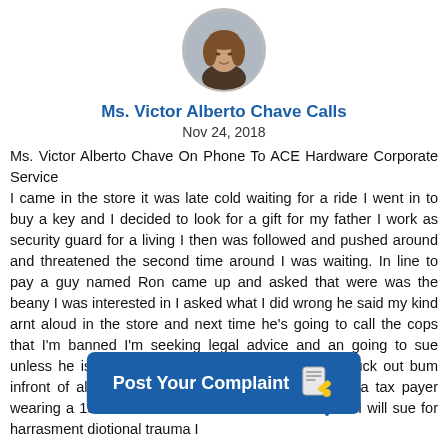[Figure (illustration): Circular avatar of a woman with brown hair, gray professional background]
Ms. Victor Alberto Chave Calls
Nov 24, 2018
Ms. Victor Alberto Chave On Phone To ACE Hardware Corporate Service
I came in the store it was late cold waiting for a ride I went in to buy a key and I decided to look for a gift for my father I work as security guard for a living I then was followed and pushed around and threatened the second time around I was waiting. In line to pay a guy named Ron came up and asked that were was the beany I was interested in I asked what I did wrong he said my kind arnt aloud in the store and next time he's going to call the cops that I'm banned I'm seeking legal advice and an going to sue unless he is fired he cursed at me saying get the fuck out bum infront of all the customers I'm far from a bum I'm a tax payer wearing a 1300.00 dollar sweater I won't let his ...nse I will sue for harrasment di...otional trauma I
[Figure (other): Post Your Complaint button overlay with pencil/notepad icon]